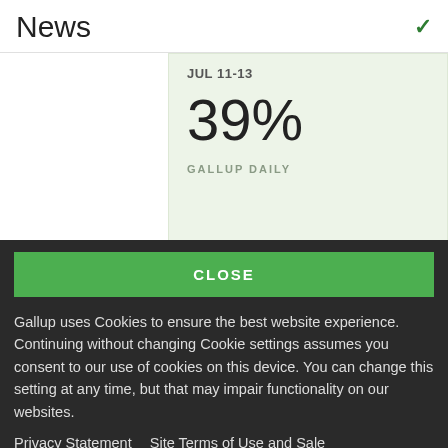News
JUL 11-13
39%
GALLUP DAILY
CLOSE
Gallup uses Cookies to ensure the best website experience. Continuing without changing Cookie settings assumes you consent to our use of cookies on this device. You can change this setting at any time, but that may impair functionality on our websites.
Privacy Statement   Site Terms of Use and Sale
Product Terms of Use   Adjust your cookie settings.